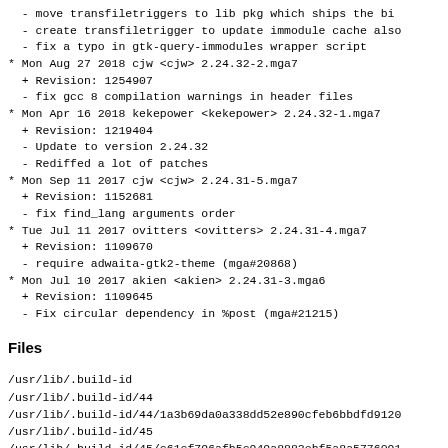- move transfiletriggers to lib pkg which ships the bi
  - create transfiletrigger to update immodule cache also
  - fix a typo in gtk-query-immodules wrapper script
* Mon Aug 27 2018 cjw <cjw> 2.24.32-2.mga7
  + Revision: 1254907
  - fix gcc 8 compilation warnings in header files
* Mon Apr 16 2018 kekepower <kekepower> 2.24.32-1.mga7
  + Revision: 1219404
  - Update to version 2.24.32
  - Rediffed a lot of patches
* Mon Sep 11 2017 cjw <cjw> 2.24.31-5.mga7
  + Revision: 1152681
  - fix find_lang arguments order
* Tue Jul 11 2017 ovitters <ovitters> 2.24.31-4.mga7
  + Revision: 1109670
  - require adwaita-gtk2-theme (mga#20868)
* Mon Jul 10 2017 akien <akien> 2.24.31-3.mga6
  + Revision: 1109645
  - Fix circular dependency in %post (mga#21215)
Files
/usr/lib/.build-id
/usr/lib/.build-id/44
/usr/lib/.build-id/44/1a3b69da0a338dd52e890cfeb6bbdfd9120
/usr/lib/.build-id/45
/usr/lib/.build-id/45/c61cf796afb5c949a8882ebf5a8a5776091
/usr/lib/.build-id/48